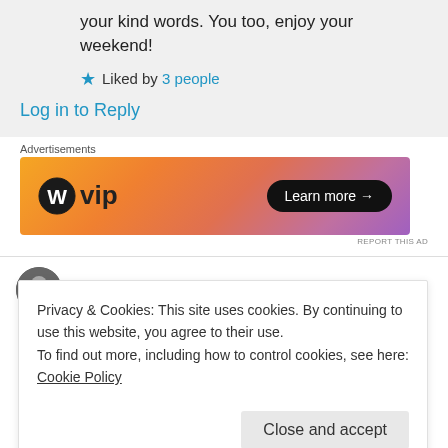your kind words. You too, enjoy your weekend!
★ Liked by 3 people
Log in to Reply
[Figure (other): WordPress VIP advertisement banner with orange/purple gradient and Learn more button]
REPORT THIS AD
PIYUSH BILANDI on 21/06/2017 at 17:52
Privacy & Cookies: This site uses cookies. By continuing to use this website, you agree to their use.
To find out more, including how to control cookies, see here: Cookie Policy
Close and accept
implement my blog first page soon as it will